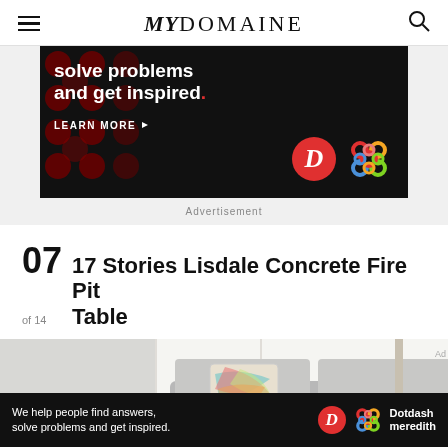MYDOMAINE
[Figure (screenshot): Advertisement banner: black background with dark red polka dots, text 'solve problems and get inspired.' in white bold, 'LEARN MORE' button with arrow, Dotdash D logo in red circle and colorful knot logo on right]
Advertisement
07 of 14  17 Stories Lisdale Concrete Fire Pit Table
[Figure (photo): Partial photo of a gray sofa with colorful patterned pillow, white paneled wall background]
[Figure (screenshot): Bottom sticky ad: black background, 'We help people find answers, solve problems and get inspired.' in white text, Dotdash D red circle logo and colorful knot logo, 'Dotdash meredith' text in white]